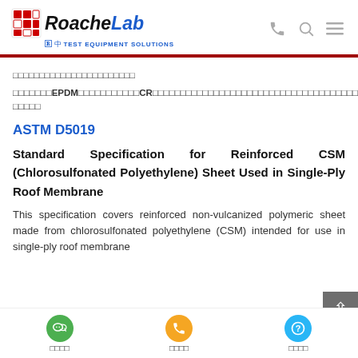RoacheLab TEST EQUIPMENT SOLUTIONS
□□□□□□□□□□□□□□□□□□□□□□□
□□□□□□□EPDM□□□□□□□□□□□CR□□□□□□□□□□□□□□□□□□□□□□□□□□□□□□□□□□□□□□□□□□□□□□□□□□
ASTM D5019
Standard Specification for Reinforced CSM (Chlorosulfonated Polyethylene) Sheet Used in Single-Ply Roof Membrane
This specification covers reinforced non-vulcanized polymeric sheet made from chlorosulfonated polyethylene (CSM) intended for use in single-ply roof membrane...